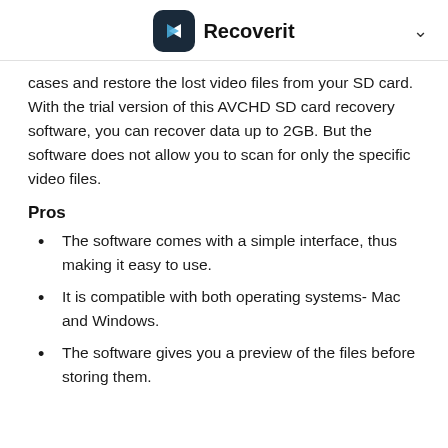Recoverit
cases and restore the lost video files from your SD card. With the trial version of this AVCHD SD card recovery software, you can recover data up to 2GB. But the software does not allow you to scan for only the specific video files.
Pros
The software comes with a simple interface, thus making it easy to use.
It is compatible with both operating systems- Mac and Windows.
The software gives you a preview of the files before storing them.